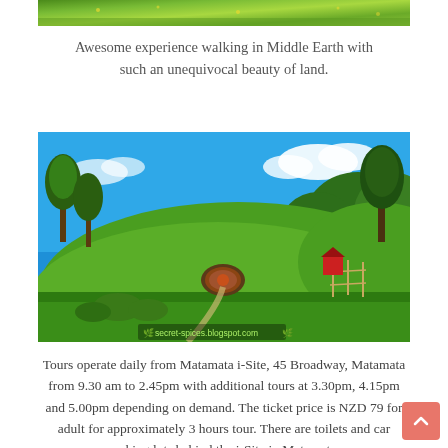[Figure (photo): Top portion of a green grassy landscape photo, cropped at the bottom edge]
Awesome experience walking in Middle Earth with such an unequivocal beauty of land.
[Figure (photo): Panoramic photo of Hobbiton movie set in Matamata, New Zealand — green rolling hills, hobbit holes, lush trees, blue sky, with watermark 'secret-spices.blogspot.com']
Tours operate daily from Matamata i-Site, 45 Broadway, Matamata from 9.30 am to 2.45pm with additional tours at 3.30pm, 4.15pm and 5.00pm depending on demand. The ticket price is NZD 79 for adult for approximately 3 hours tour. There are toilets and car parking lots behind the i-Site in Matamata.